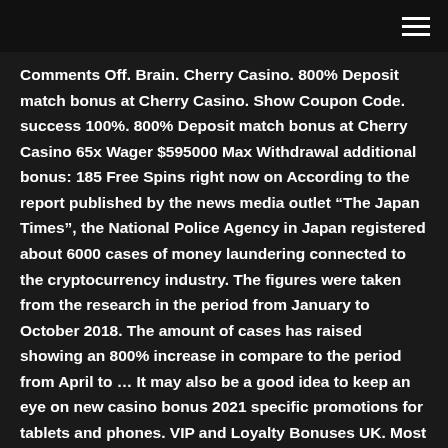Comments Off. Brain. Cherry Casino. 800% Deposit match bonus at Cherry Casino. Show Coupon Code. success 100%. 800% Deposit match bonus at Cherry Casino 65x Wager $595000 Max Withdrawal additional bonus: 185 Free Spins right now on According to the report published by the news media outlet “The Japan Times”, the National Police Agency in Japan registered about 6000 cases of money laundering connected to the cryptocurrency industry. The figures were taken from the research in the period from January to October 2018. The amount of cases has raised showing an 800% increase in compare to the period from April to … It may also be a good idea to keep an eye on new casino bonus 2021 specific promotions for tablets and phones. VIP and Loyalty Bonuses UK. Most New Online